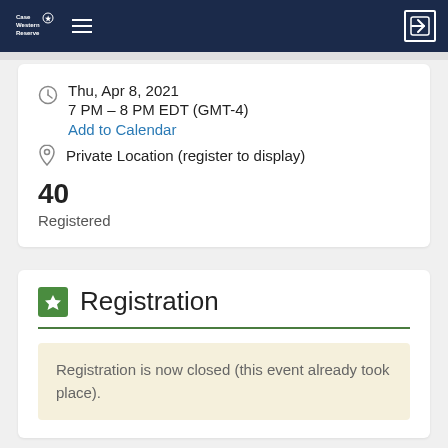Case Western Reserve University
Thu, Apr 8, 2021
7 PM – 8 PM EDT (GMT-4)
Add to Calendar
Private Location (register to display)
40
Registered
Registration
Registration is now closed (this event already took place).